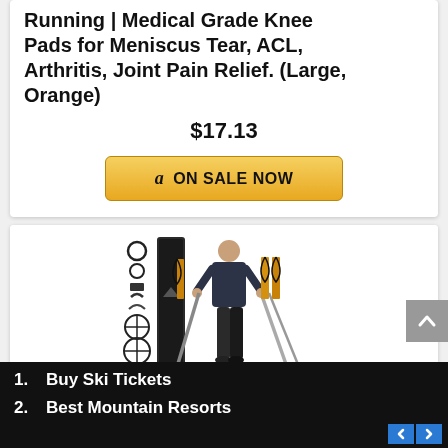Running | Medical Grade Knee Pads for Meniscus Tear, ACL, Arthritis, Joint Pain Relief. (Large, Orange)
$17.13
ON SALE NOW
[Figure (photo): Product photo showing trekking/hiking poles with accessories and a person holding the poles]
1. Buy Ski Tickets
2. Best Mountain Resorts